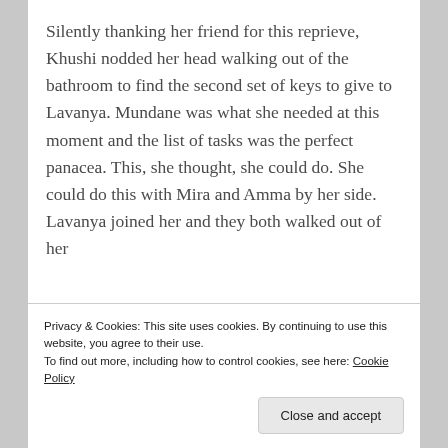Silently thanking her friend for this reprieve, Khushi nodded her head walking out of the bathroom to find the second set of keys to give to Lavanya. Mundane was what she needed at this moment and the list of tasks was the perfect panacea. This, she thought, she could do. She could do this with Mira and Amma by her side. Lavanya joined her and they both walked out of her
Privacy & Cookies: This site uses cookies. By continuing to use this website, you agree to their use.
To find out more, including how to control cookies, see here: Cookie Policy
Close and accept